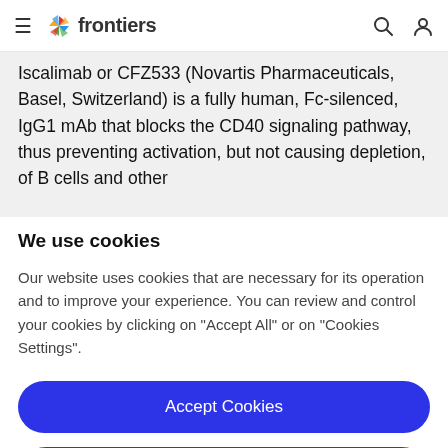frontiers (navigation bar with hamburger menu, logo, search and user icons)
Iscalimab or CFZ533 (Novartis Pharmaceuticals, Basel, Switzerland) is a fully human, Fc-silenced, IgG1 mAb that blocks the CD40 signaling pathway, thus preventing activation, but not causing depletion, of B cells and other
We use cookies
Our website uses cookies that are necessary for its operation and to improve your experience. You can review and control your cookies by clicking on "Accept All" or on "Cookies Settings".
Accept Cookies
Cookies Settings